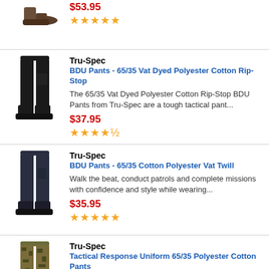[Figure (photo): Boots/shoe product image (top, partially cut off)]
$53.95
★★★★★
[Figure (photo): Black BDU pants with boots, Tru-Spec]
Tru-Spec
BDU Pants - 65/35 Vat Dyed Polyester Cotton Rip-Stop
The 65/35 Vat Dyed Polyester Cotton Rip-Stop BDU Pants from Tru-Spec are a tough tactical pant...
$37.95
★★★★½
[Figure (photo): Navy blue BDU pants with boots, Tru-Spec]
Tru-Spec
BDU Pants - 65/35 Cotton Polyester Vat Twill
Walk the beat, conduct patrols and complete missions with confidence and style while wearing...
$35.95
★★★★★
[Figure (photo): Camouflage tactical pants, Tru-Spec]
Tru-Spec
Tactical Response Uniform 65/35 Polyester Cotton Pants
The Tactical Response Uniform 65/35 Polyester Cotton...